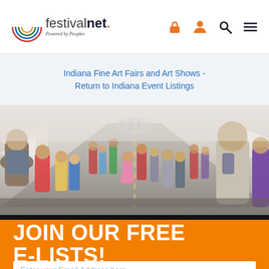festivalnet. Powered by Peoples — navigation icons: lock, person, search, menu
Indiana Fine Art Fairs and Art Shows - Return to Indiana Event Listings
[Figure (photo): Crowd of people walking through an outdoor art fair or festival on a sunny day, viewed from behind, with vendor tents on both sides of a street.]
JOIN OUR FREE E-LISTS!
Enter your Email Address here...